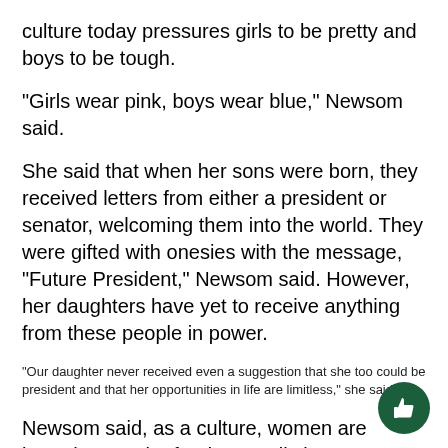culture today pressures girls to be pretty and boys to be tough.
“Girls wear pink, boys wear blue,” Newsom said.
She said that when her sons were born, they received letters from either a president or senator, welcoming them into the world. They were gifted with onesies with the message, “Future President,” Newsom said. However, her daughters have yet to receive anything from these people in power.
“Our daughter never received even a suggestion that she too could be president and that her opportunities in life are limitless,” she said.
Newsom said, as a culture, women are brought up to be fundamentally insecure, whereas a man’s success is based on power in a male dominated industry.
“Women have less leadership roles and Mrs. News…